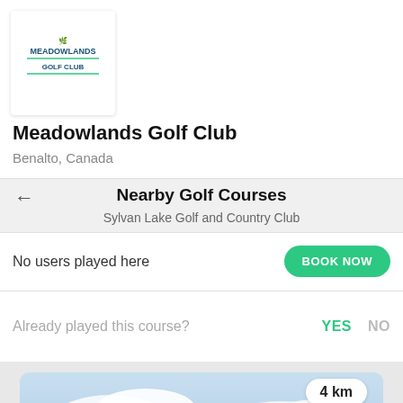[Figure (screenshot): Green golf course banner image at top]
[Figure (logo): Meadowlands Golf Club logo - white box with green and dark blue text]
Meadowlands Golf Club
Benalto, Canada
Nearby Golf Courses
Sylvan Lake Golf and Country Club
No users played here
BOOK NOW
Already played this course?
YES
NO
[Figure (photo): Sky and landscape photo at bottom of page]
4 km